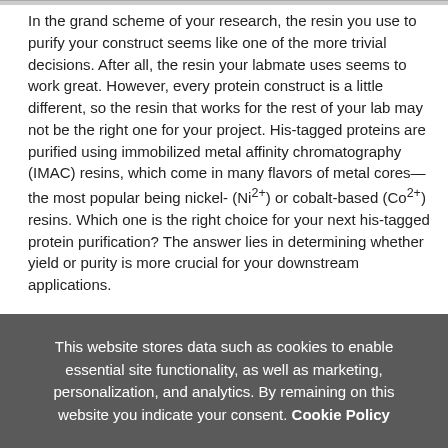In the grand scheme of your research, the resin you use to purify your construct seems like one of the more trivial decisions. After all, the resin your labmate uses seems to work great. However, every protein construct is a little different, so the resin that works for the rest of your lab may not be the right one for your project. His-tagged proteins are purified using immobilized metal affinity chromatography (IMAC) resins, which come in many flavors of metal cores—the most popular being nickel- (Ni2+) or cobalt-based (Co2+) resins. Which one is the right choice for your next his-tagged protein purification? The answer lies in determining whether yield or purity is more crucial for your downstream applications.

The differences in performance of Co2+- and Ni2+-based IMAC resins is a result of the spatial positioning of each metal ion in
This website stores data such as cookies to enable essential site functionality, as well as marketing, personalization, and analytics. By remaining on this website you indicate your consent. Cookie Policy